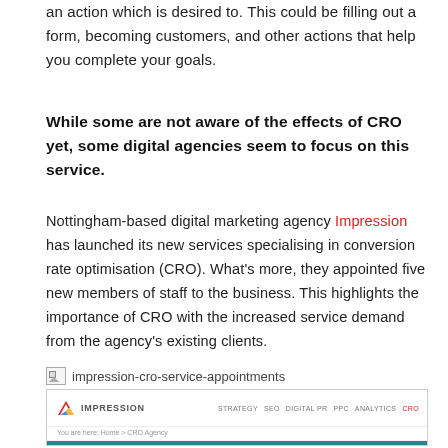an action which is desired to. This could be filling out a form, becoming customers, and other actions that help you complete your goals.
While some are not aware of the effects of CRO yet, some digital agencies seem to focus on this service.
Nottingham-based digital marketing agency Impression has launched its new services specialising in conversion rate optimisation (CRO). What's more, they appointed five new members of staff to the business. This highlights the importance of CRO with the increased service demand from the agency's existing clients.
[Figure (screenshot): Screenshot of the Impression agency website showing their logo, navigation bar with STRATEGY, SEO, DIGITAL PR, PPC, ANALYTICS, CRO links, a breadcrumb 'You are here: Home > CRO Agency', and a teal/dark cyan hero section with 'CRO Agency' text. Broken image icon labeled 'impression-cro-service-appointments' appears above.]